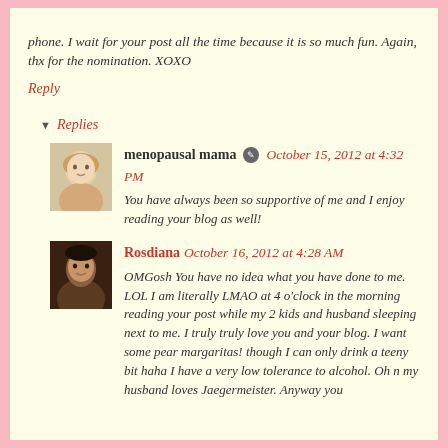phone. I wait for your post all the time because it is so much fun. Again, thx for the nomination. XOXO
Reply
▼ Replies
menopausal mama October 15, 2012 at 4:32 PM
You have always been so supportive of me and I enjoy reading your blog as well!
Rosdiana October 16, 2012 at 4:28 AM
OMGosh You have no idea what you have done to me. LOL I am literally LMAO at 4 o'clock in the morning reading your post while my 2 kids and husband sleeping next to me. I truly truly love you and your blog. I want some pear margaritas! though I can only drink a teeny bit haha I have a very low tolerance to alcohol. Oh n my husband loves Jaegermeister. Anyway you